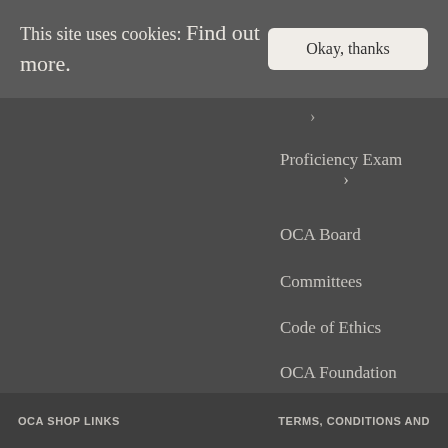This site uses cookies: Find out more.
Okay, thanks
>
Proficiency Exam >
OCA Board
Committees
Code of Ethics
OCA Foundation
OCA SHOP LINKS    TERMS, CONDITIONS AND